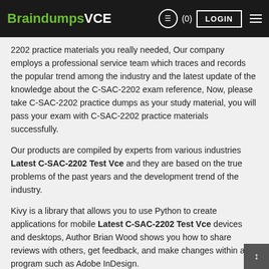BraindumpsVCE  (0)  LOGIN
2202 practice materials you really needed, Our company employs a professional service team which traces and records the popular trend among the industry and the latest update of the knowledge about the C-SAC-2202 exam reference, Now, please take C-SAC-2202 practice dumps as your study material, you will pass your exam with C-SAC-2202 practice materials successfully.
Our products are compiled by experts from various industries Latest C-SAC-2202 Test Vce and they are based on the true problems of the past years and the development trend of the industry.
Kivy is a library that allows you to use Python to create applications for mobile Latest C-SAC-2202 Test Vce devices and desktops, Author Brian Wood shows you how to share reviews with others, get feedback, and make changes within a program such as Adobe InDesign.